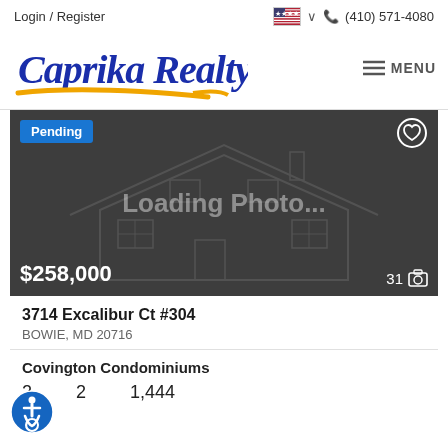Login / Register   🇺🇸 ∨   📞 (410) 571-4080
[Figure (logo): Caprika Realty logo in blue cursive script with gold swoosh underline, followed by hamburger menu icon and MENU text]
[Figure (photo): Real estate listing photo placeholder showing dark gray background with faint house outline wireframe and 'Loading Photo...' text overlay. Status badge 'Pending' in top left, heart icon top right, price '$258,000' bottom left, '31' photo count with camera icon bottom right.]
3714 Excalibur Ct #304
BOWIE, MD 20716
Covington Condominiums
2   2   1,444